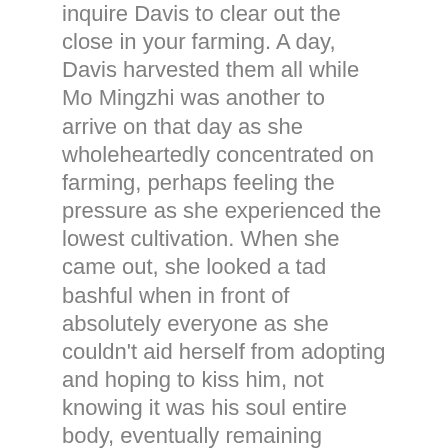inquire Davis to clear out the close in your farming. A day, Davis harvested them all while Mo Mingzhi was another to arrive on that day as she wholeheartedly concentrated on farming, perhaps feeling the pressure as she experienced the lowest cultivation. When she came out, she looked a tad bashful when in front of absolutely everyone as she couldn't aid herself from adopting and hoping to kiss him, not knowing it was his soul entire body, eventually remaining embarra.s.sed over it when she came to know.
Mo Mingzhi trembled as she aimed at Schleya, hunting hot up.
Under Update Of Timeline
Davis presented a spherical-fashioned stone the actual size of a top of your head.
“Don’t you realize that young children within the wicked way abilities would need to undergo a rite of pa.s.sage to mildew themselves into the wicked route? I had been exempt from that as my father and mom had rank inside the Blood flow Promise Villa, however, if they passed away, I found myself instructed to experience the rite of pa.s.sage at the age of five due to the Villa Master’s control. I’ll never forgive him, expecting the same day I will behead his mind, and then he understands that as well, expecting the day I will fall